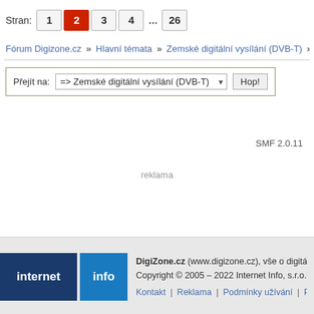Stran: 1 2 3 4 ... 26
Fórum Digizone.cz » Hlavní témata » Zemské digitální vysílání (DVB-T) » Stav v re
Přejít na: => Zemské digitální vysílání (DVB-T) Hop!
SMF 2.0.11
reklama
DigiZone.cz (www.digizone.cz), vše o digitál Copyright © 2005 – 2022 Internet Info, s.r.o. Kontakt | Reklama | Podmínky užívání | Po